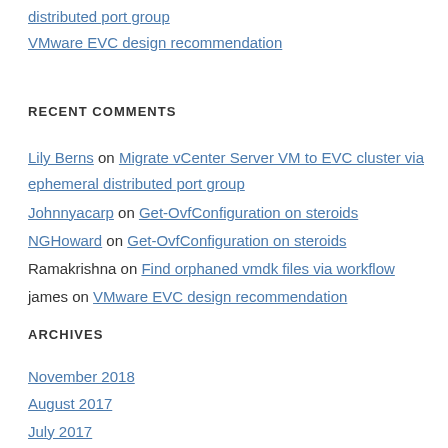distributed port group
VMware EVC design recommendation
RECENT COMMENTS
Lily Berns on Migrate vCenter Server VM to EVC cluster via ephemeral distributed port group
Johnnyacarp on Get-OvfConfiguration on steroids
NGHoward on Get-OvfConfiguration on steroids
Ramakrishna on Find orphaned vmdk files via workflow
james on VMware EVC design recommendation
ARCHIVES
November 2018
August 2017
July 2017